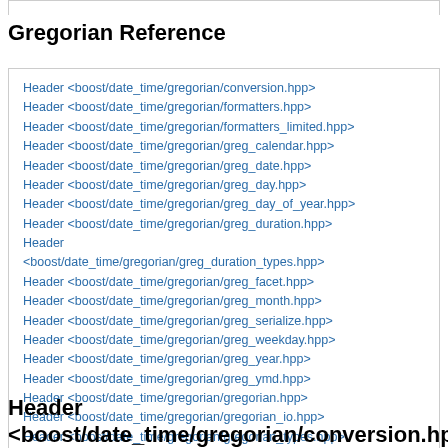Gregorian Reference
Header <boost/date_time/gregorian/conversion.hpp>
Header <boost/date_time/gregorian/formatters.hpp>
Header <boost/date_time/gregorian/formatters_limited.hpp>
Header <boost/date_time/gregorian/greg_calendar.hpp>
Header <boost/date_time/gregorian/greg_date.hpp>
Header <boost/date_time/gregorian/greg_day.hpp>
Header <boost/date_time/gregorian/greg_day_of_year.hpp>
Header <boost/date_time/gregorian/greg_duration.hpp>
Header <boost/date_time/gregorian/greg_duration_types.hpp>
Header <boost/date_time/gregorian/greg_facet.hpp>
Header <boost/date_time/gregorian/greg_month.hpp>
Header <boost/date_time/gregorian/greg_serialize.hpp>
Header <boost/date_time/gregorian/greg_weekday.hpp>
Header <boost/date_time/gregorian/greg_year.hpp>
Header <boost/date_time/gregorian/greg_ymd.hpp>
Header <boost/date_time/gregorian/gregorian.hpp>
Header <boost/date_time/gregorian/gregorian_io.hpp>
Header <boost/date_time/gregorian/gregorian_types.hpp>
Header <boost/date_time/gregorian/parsers.hpp>
Header
<boost/date_time/gregorian/conversion.hpp>